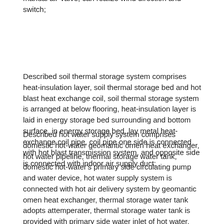manual air-valve, can realize wind direction and switch;
Described soil thermal storage system comprises heat-insulation layer, soil thermal storage bed and hot blast heat exchange coil, soil thermal storage system is arranged at below flooring, heat-insulation layer is laid in energy storage bed surrounding and bottom surface, in energy storage bed, lay metal heat-exchange coil pipe, coil pipe one side is connected with hot blast transmission system, and opposite side is connected with indoor air supply duct;
Described hot water supply system comprises domestic hot-water geomantic omen heat exchanger, hot water pipeline, thermal storage water tank, domestic hot-water's primary side circulating pump and water device, hot water supply system is connected with hot air delivery system by geomantic omen heat exchanger, thermal storage water tank adopts attemperater, thermal storage water tank is provided with primary side water inlet of hot water, primary side delivery port, running water water supplement port and secondary side hot water outlet, and primary side delivery port is connected with domestic hot-water's primary side circulating pump.